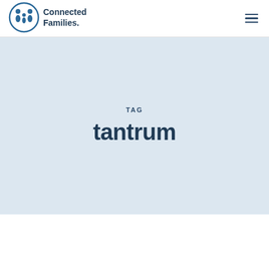[Figure (logo): Connected Families logo with circular family icon and text 'Connected Families']
TAG
tantrum